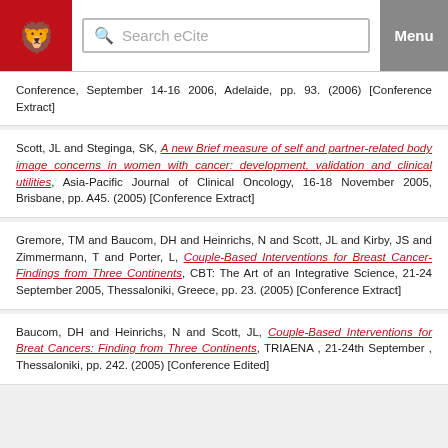Search eCite | Menu
Conference, September 14-16 2006, Adelaide, pp. 93. (2006) [Conference Extract]
Scott, JL and Steginga, SK, A new Brief measure of self and partner-related body image concerns in women with cancer: development, validation and clinical utilities, Asia-Pacific Journal of Clinical Oncology, 16-18 November 2005, Brisbane, pp. A45. (2005) [Conference Extract]
Gremore, TM and Baucom, DH and Heinrichs, N and Scott, JL and Kirby, JS and Zimmermann, T and Porter, L, Couple-Based Interventions for Breast Cancer-Findings from Three Continents, CBT: The Art of an Integrative Science, 21-24 September 2005, Thessaloniki, Greece, pp. 23. (2005) [Conference Extract]
Baucom, DH and Heinrichs, N and Scott, JL, Couple-Based Interventions for Breat Cancers: Finding from Three Continents, TRIAENA , 21-24th September , Thessaloniki, pp. 242. (2005) [Conference Edited]